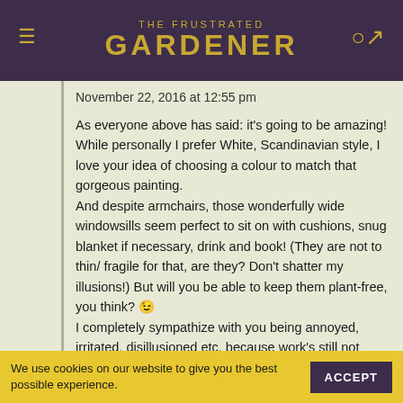THE FRUSTRATED GARDENER
November 22, 2016 at 12:55 pm
As everyone above has said: it's going to be amazing! While personally I prefer White, Scandinavian style, I love your idea of choosing a colour to match that gorgeous painting.
And despite armchairs, those wonderfully wide windowsills seem perfect to sit on with cushions, snug blanket if necessary, drink and book! (They are not to thin/ fragile for that, are they? Don't shatter my illusions!) But will you be able to keep them plant-free, you think? 😉
I completely sympathize with you being annoyed, irritated, disillusioned etc. because work's still not finished. I suppose the worst bit is having been told it would be ready in July and then, like the carrot on the
We use cookies on our website to give you the best possible experience.